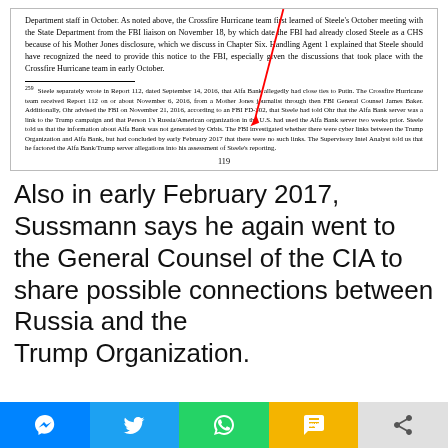Department staff in October. As noted above, the Crossfire Hurricane team first learned of Steele's October meeting with the State Department from the FBI liaison on November 18, by which date the FBI had already closed Steele as a CHS because of his Mother Jones disclosure, which we discuss in Chapter Six. Handling Agent 1 explained that Steele should have recognized the need to provide this notice to the FBI, especially given the discussions that took place with the Crossfire Hurricane team in early October.
259 Steele separately wrote in Report 112, dated September 14, 2016, that Alfa Bank allegedly had close ties to Putin. The Crossfire Hurricane team received Report 112 on or about November 6, 2016, from a Mother Jones journalist through then FBI General Counsel James Baker. Additionally, Ohr advised the FBI on November 21, 2016, according to an FBI FD-202, that Steele had told Ohr that the Alfa Bank server was a link to the Trump campaign and that Person 1's Russia/American organization in the U.S. had used the Alfa Bank server two weeks prior. Steele told us that the information about Alfa Bank was not generated by Orbis. The FBI investigated whether there were cyber links between the Trump Organization and Alfa Bank, but had concluded by early February 2017 that there were no such links. The Supervisory Intel Analyst told us that he factored the Alfa Bank/Trump server allegations into his assessment of Steele's reporting.
119
Also in early February 2017, Sussmann says he again went to the General Counsel of the CIA to share possible connections between Russia and the Trump Organization.